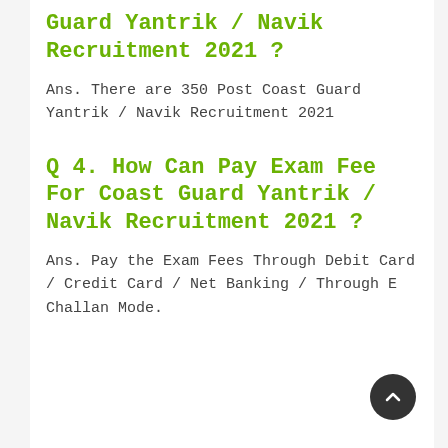Vacancies Are In Coast Guard Yantrik / Navik Recruitment 2021 ?
Ans. There are 350 Post Coast Guard Yantrik / Navik Recruitment 2021
Q 4. How Can Pay Exam Fee For Coast Guard Yantrik / Navik Recruitment 2021 ?
Ans. Pay the Exam Fees Through Debit Card / Credit Card / Net Banking / Through E Challan Mode.